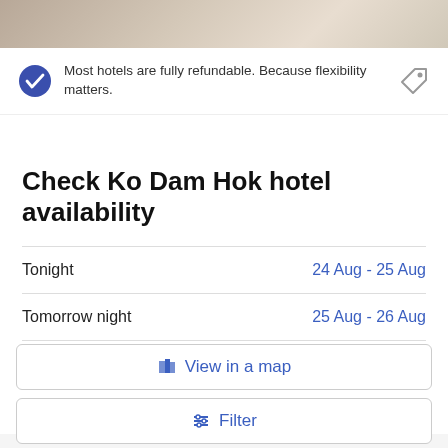[Figure (photo): Hotel room photo strip at top of page]
Most hotels are fully refundable. Because flexibility matters.
Check Ko Dam Hok hotel availability
Tonight — 24 Aug - 25 Aug
Tomorrow night — 25 Aug - 26 Aug
This weekend — 26 Aug - 28 Aug
Next weekend — 2 Sep - 4 Sep
View in a map
Filter